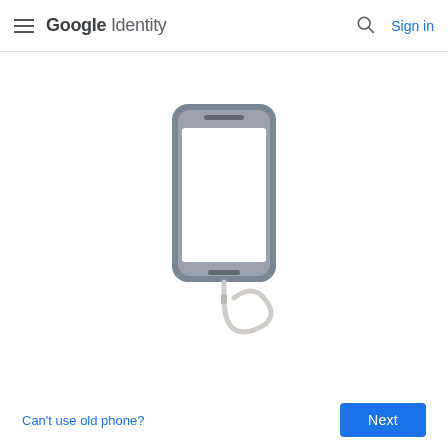Google Identity  Sign in
[Figure (illustration): Illustration of a smartphone with a charging cable coiled below it, shown in a light gray color scheme against a white background.]
Can't use old phone?
Next